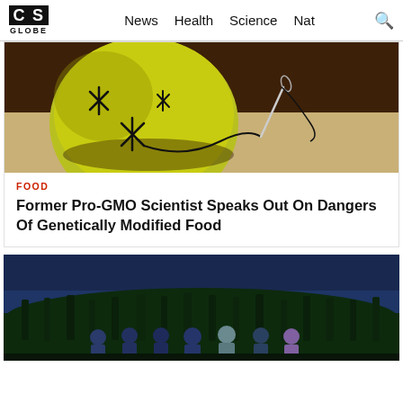CS GLOBE — News  Health  Science  Nat  [search]
[Figure (photo): Close-up of a yellow-green fruit (apple/lemon) with black stitches sewn on it and a sewing needle beside it, suggesting genetic modification metaphor]
FOOD
Former Pro-GMO Scientist Speaks Out On Dangers Of Genetically Modified Food
[Figure (photo): Group of people standing in front of a tall cornfield at dusk/night with a dark blue sky]